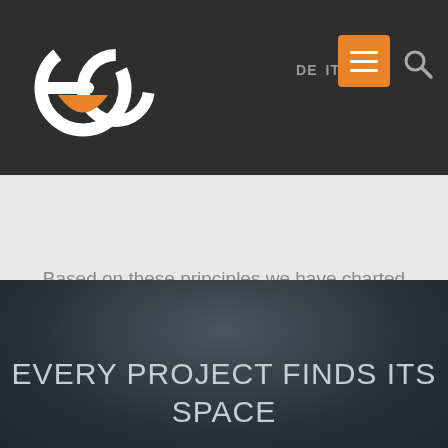[Figure (logo): ERA company logo — stylized circular icon in white and orange/gray on dark background, with letters 'era']
DE  IT  [menu]  [search]
Based on these principles we have charted the course for the future with a constant evolution of production processes, of corporate safety and well-being.
EVERY PROJECT FINDS ITS SPACE